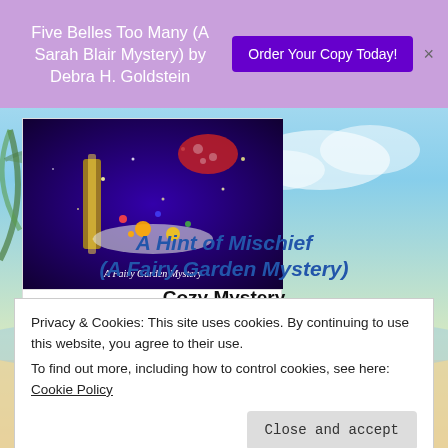Five Belles Too Many (A Sarah Blair Mystery) by Debra H. Goldstein
Order Your Copy Today!
[Figure (photo): Book cover image for A Hint of Mischief (A Fairy Garden Mystery) showing decorative items on a purple sparkly background]
BUY | PREVIEW
A Hint of Mischief (A Fairy Garden Mystery)
Cozy Mystery
Privacy & Cookies: This site uses cookies. By continuing to use this website, you agree to their use.
To find out more, including how to control cookies, see here:
Cookie Policy
Close and accept
[Figure (logo): Goodreads logo]